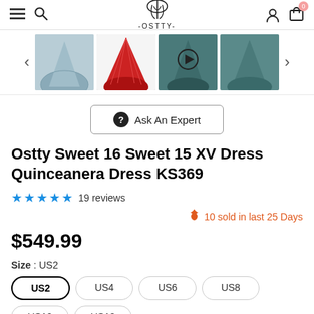OSTTY - navigation bar with hamburger, search, logo, user and cart icons
[Figure (photo): Four product thumbnail images of Quinceanera dresses with left and right navigation arrows]
Ask An Expert
Ostty Sweet 16 Sweet 15 XV Dress Quinceanera Dress KS369
★★★★★ 19 reviews
10 sold in last 25 Days
$549.99
Size : US2
US2 US4 US6 US8 US10 US12